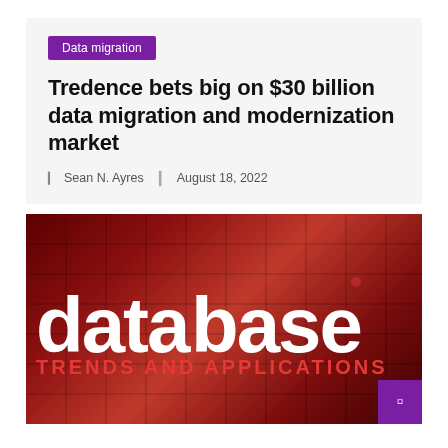Data migration
Tredence bets big on $30 billion data migration and modernization market
Sean N. Ayres   August 18, 2022
[Figure (photo): Database Trends and Applications magazine logo/banner on a dark red grid-patterned background with white and red text reading 'database TRENDS AND APPLICATIONS']